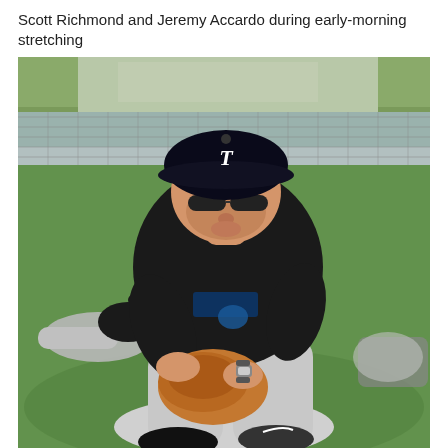Scott Richmond and Jeremy Accardo during early-morning stretching
[Figure (photo): A Toronto Blue Jays baseball player in a black Toronto jersey and grey pants, wearing a black Blue Jays cap and sunglasses, crouching down and holding a brown baseball glove with both hands. Another player in grey pants is lying/stretching on the green grass in the background. A chain-link fence and trees are visible in the far background. The setting is an outdoor baseball practice field.]